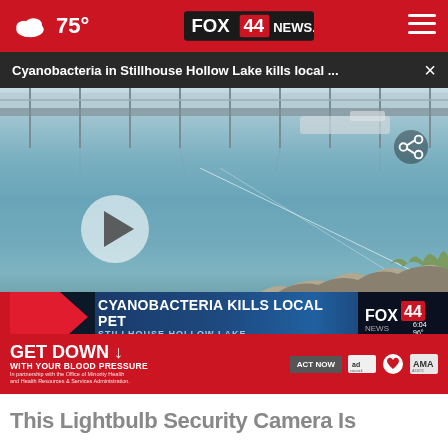75° FOX 44 NEWS.com
Cyanobacteria in Stillhouse Hollow Lake kills local ... ×
[Figure (screenshot): Video player showing Stillhouse Hollow Lake with marina and dock in background, rocky shoreline in lower right. Play button overlay visible. Lower-third news graphic reads: CYANOBACTERIA KILLS LOCAL PET / STILLHOUSE HOLLOW LAKE. News ticker: HOUSE DEMOCRATS PASS $3.5 TRILLION BUDGET RESOLUTION, ADVANCE $1 TRILLION BI... NATIONAL NEWS. FOX 44 logo with time 6:04 and temperature 96°.]
[Figure (screenshot): Partial second video thumbnail showing a storefront or building interior, with a dark close (X) button circle overlay on the right side.]
GET DOWN ↓ WITH YOUR BLOOD PRESSURE In partnership with the Office of Minority Health and Health Resources & Services Administration. ACT NOW ad council AMA
This Lightbulb Security Camera Is